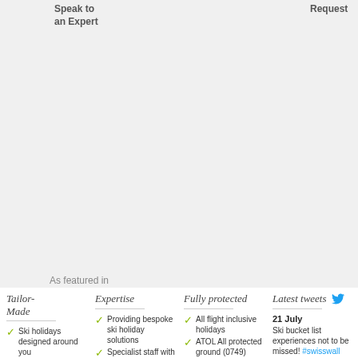Speak to an Expert
Request
As featured in
[Figure (logo): ES. magazine logo in grey]
[Figure (logo): TATLER magazine logo in grey]
Tailor-Made
Ski holidays designed around you
Creating individual itineraries every
Expertise
Providing bespoke ski holiday solutions
Specialist staff with since first-1994
hand Unrivalled resort
Fully protected
All flight inclusive holidays
ATOL All protected ground (0749) arrangements
ABTA
Latest tweets
21 July Ski bucket list experiences not to be missed! #swisswall